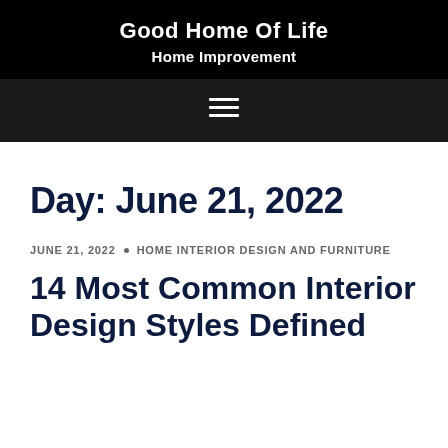Good Home Of Life
Home Improvement
Day: June 21, 2022
JUNE 21, 2022 · HOME INTERIOR DESIGN AND FURNITURE
14 Most Common Interior Design Styles Defined